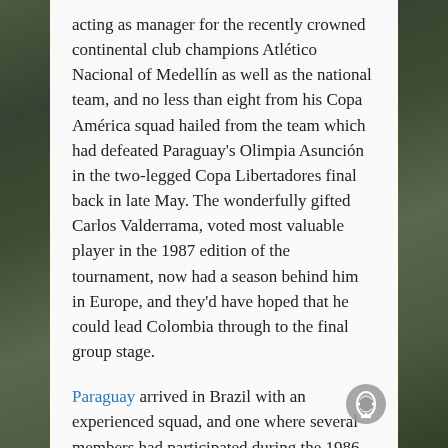acting as manager for the recently crowned continental club champions Atlético Nacional of Medellín as well as the national team, and no less than eight from his Copa América squad hailed from the team which had defeated Paraguay's Olimpia Asunción in the two-legged Copa Libertadores final back in late May. The wonderfully gifted Carlos Valderrama, voted most valuable player in the 1987 edition of the tournament, now had a season behind him in Europe, and they'd have hoped that he could lead Colombia through to the final group stage.
Paraguay arrived in Brazil with an experienced squad, and one where several members had participated during the 1986 World Cup in Mexico. Still, they were without a number of